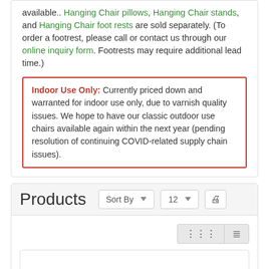available.. Hanging Chair pillows, Hanging Chair stands, and Hanging Chair foot rests are sold separately. (To order a footrest, please call or contact us through our online inquiry form. Footrests may require additional lead time.)
Indoor Use Only: Currently priced down and warranted for indoor use only, due to varnish quality issues. We hope to have our classic outdoor use chairs available again within the next year (pending resolution of continuing COVID-related supply chain issues).
Products
[Figure (screenshot): Products section header with Sort By dropdown, 12 items per page dropdown, and print button. Below is a grid/list view toggle and an empty product listing area with a scroll-to-top button.]